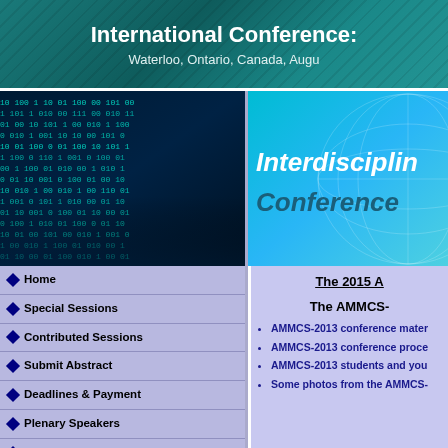International Conference:
Waterloo, Ontario, Canada, Augu
[Figure (photo): Binary code / digital data visualization on dark blue background]
[Figure (illustration): Interdisciplinary Conference logo text on cyan/blue gradient background with grid lines]
Home
Special Sessions
Contributed Sessions
Submit Abstract
Deadlines & Payment
Plenary Speakers
Student Prize & Support
The 2015 A
The AMMCS-
AMMCS-2013 conference mater
AMMCS-2013 conference proce
AMMCS-2013 students and you
Some photos from the AMMCS-